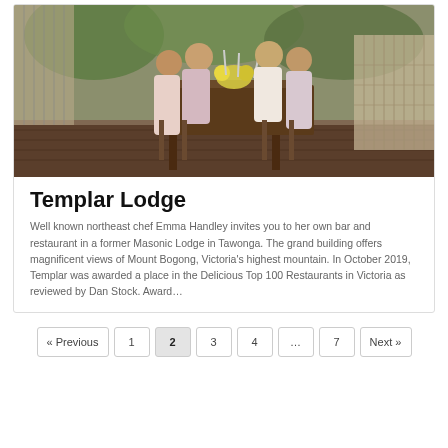[Figure (photo): Group of women sitting around a wooden dining table on a covered deck/porch, raising glasses in a toast. Green foliage visible in background. Decorative lattice railing on the right side.]
Templar Lodge
Well known northeast chef Emma Handley invites you to her own bar and restaurant in a former Masonic Lodge in Tawonga. The grand building offers magnificent views of Mount Bogong, Victoria's highest mountain. In October 2019, Templar was awarded a place in the Delicious Top 100 Restaurants in Victoria as reviewed by Dan Stock. Award…
« Previous  1  2  3  4  …  7  Next »